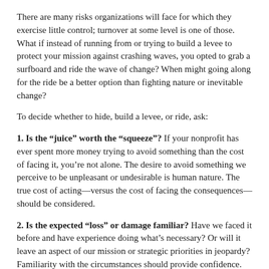There are many risks organizations will face for which they exercise little control; turnover at some level is one of those. What if instead of running from or trying to build a levee to protect your mission against crashing waves, you opted to grab a surfboard and ride the wave of change? When might going along for the ride be a better option than fighting nature or inevitable change?
To decide whether to hide, build a levee, or ride, ask:
1. Is the “juice” worth the “squeeze”? If your nonprofit has ever spent more money trying to avoid something than the cost of facing it, you’re not alone. The desire to avoid something we perceive to be unpleasant or undesirable is human nature. The true cost of acting—versus the cost of facing the consequences—should be considered.
2. Is the expected “loss” or damage familiar? Have we faced it before and have experience doing what’s necessary? Or will it leave an aspect of our mission or strategic priorities in jeopardy? Familiarity with the circumstances should provide confidence.
3. Is the decision-making path clear? Many teams fret about